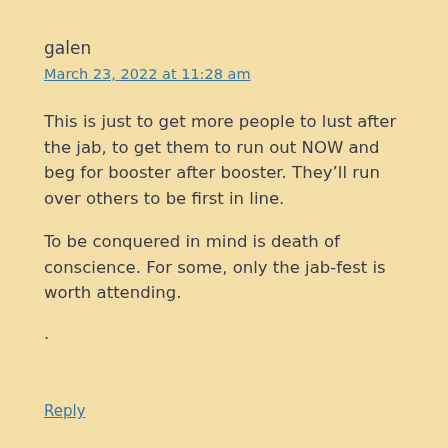galen
March 23, 2022 at 11:28 am
This is just to get more people to lust after the jab, to get them to run out NOW and beg for booster after booster. They’ll run over others to be first in line.
To be conquered in mind is death of conscience. For some, only the jab-fest is worth attending.
.
Reply